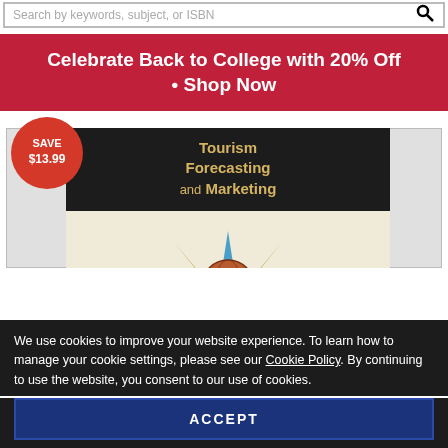Search by keywords, subject, or ISBN
Celebrate Back to College with 20% Off • Shop Now
[Figure (photo): Book cover for 'Tourism Forecasting and Marketing' with a dark title bar and compass/globe illustration on a aged parchment background. A red circular badge overlay reads SAVE $13.99.]
We use cookies to improve your website experience. To learn how to manage your cookie settings, please see our Cookie Policy. By continuing to use the website, you consent to our use of cookies.
ACCEPT